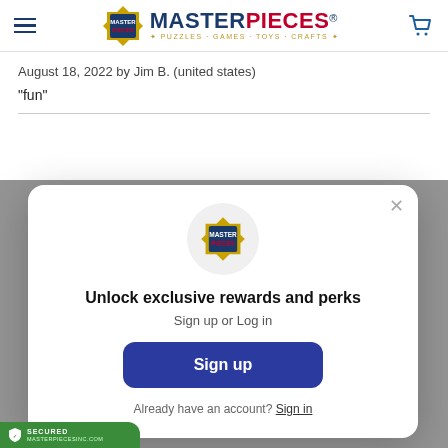[Figure (logo): MasterPieces logo with hamburger menu and shopping cart in header]
August 18, 2022 by Jim B. (united states)
“fun”
[Figure (screenshot): Modal popup with MasterPieces logo, 'Unlock exclusive rewards and perks' heading, 'Sign up or Log in' subtext, Sign up button, and 'Already have an account? Sign in' footer link]